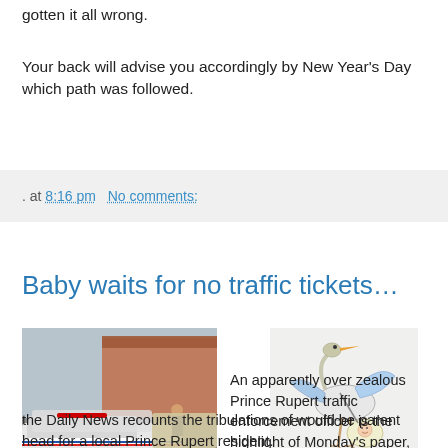gotten it all wrong.
Your back will advise you accordingly by New Year's Day which path was followed.
. at 8:16 pm   No comments:
Baby waits for no traffic tickets…
[Figure (photo): Police cars in a parking lot with officers standing nearby]
[Figure (illustration): Cartoon stork delivering a baby]
An apparently over zealous Prince Rupert traffic enforcement officer is the highlight of Monday's paper, as the Daily News recounts the tribulations of would be parent head for a local Prince Rupert resident.